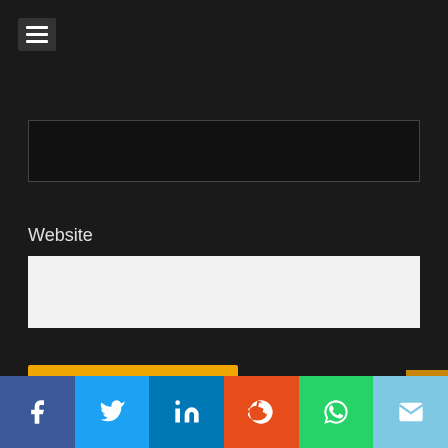[Figure (screenshot): Dark website UI with hamburger menu icon in top left, a dark text input box, a Website form field label and white input box, a yellow Post Comment button, an Akismet spam notice with orange link text, and a social sharing bar at the bottom with Facebook, Twitter, LinkedIn, Reddit, WhatsApp, and Email icons.]
Website
Post Comment
This site uses Akismet to reduce spam. Learn how your comment data is processed.